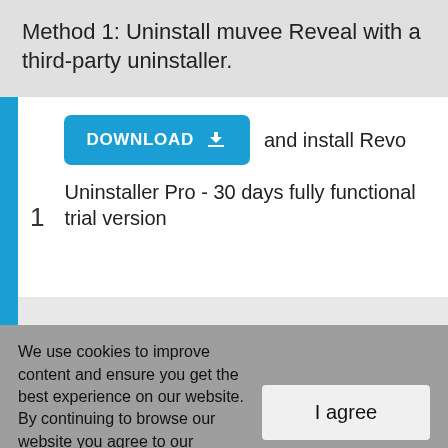Method 1: Uninstall muvee Reveal with a third-party uninstaller.
1 — DOWNLOAD and install Revo Uninstaller Pro - 30 days fully functional trial version
We use cookies to improve content and ensure you get the best experience on our website. By continuing to browse our website you agree to our privacy policy. For more information please view our Privacy & Cookie Policy